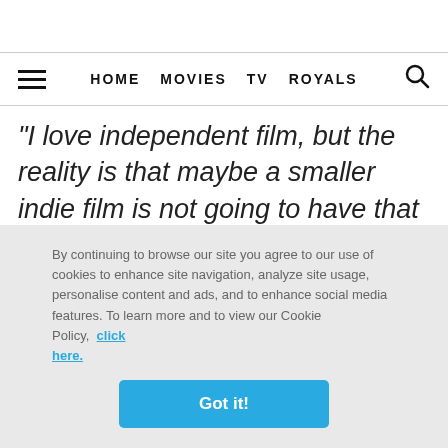HOME   MOVIES   TV   ROYALS
“I love independent film, but the reality is that maybe a smaller indie film is not going to have that reach. There is something about the potential and the impact that these films can have, which is amazing.”
By continuing to browse our site you agree to our use of cookies to enhance site navigation, analyze site usage, personalise content and ads, and to enhance social media features. To learn more and to view our Cookie Policy, click here.
Got it!